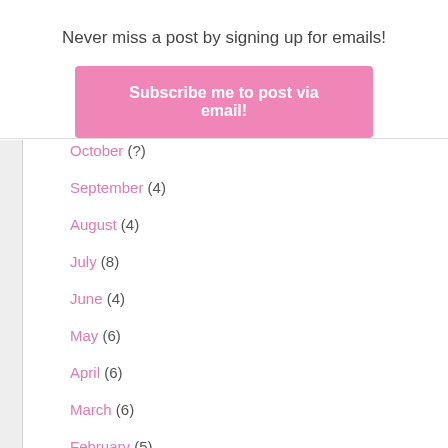Never miss a post by signing up for emails!
Subscribe me to post via email!
October (?)
September (4)
August (4)
July (8)
June (4)
May (6)
April (6)
March (6)
February (5)
January (6)